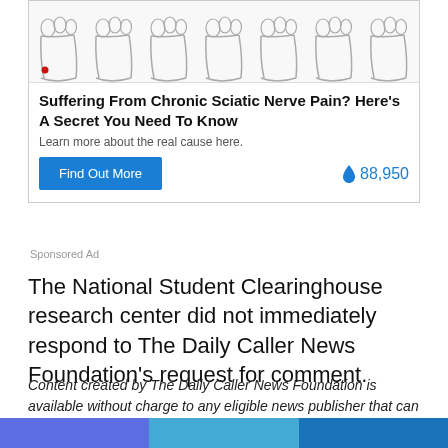[Figure (illustration): Advertisement banner showing a row of feet/leg illustrations with a red dot on the heel of the first foot, representing sciatic nerve pain.]
Suffering From Chronic Sciatic Nerve Pain? Here's A Secret You Need To Know
Learn more about the real cause here.
Find Out More   🔥 88,950
Sponsored Ad
The National Student Clearinghouse research center did not immediately respond to The Daily Caller News Foundation's request for comment.
Content created by The Daily Caller News Foundation is available without charge to any eligible news publisher that can provide a large audience. For licensing opportunities of our original content, please contact licensing@dailycallernewsfoundation.org